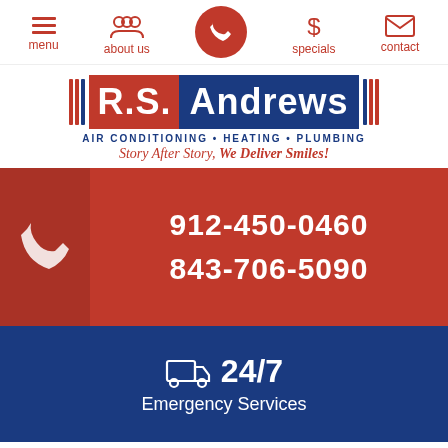menu | about us | [phone] | specials | contact
[Figure (logo): R.S. Andrews logo with red and blue sections, tagline: AIR CONDITIONING • HEATING • PLUMBING, Story After Story, We Deliver Smiles!]
912-450-0460
843-706-5090
24/7 Emergency Services